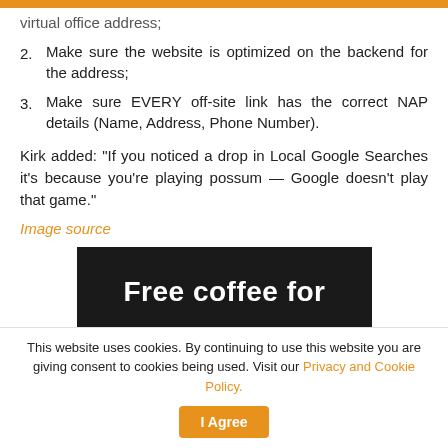2. Make sure the website is optimized on the backend for the address;
3. Make sure EVERY off-site link has the correct NAP details (Name, Address, Phone Number).
Kirk added: “If you noticed a drop in Local Google Searches it’s because you’re playing possum — Google doesn’t play that game.”
Image source
[Figure (photo): Dark banner image with white bold text reading 'Free coffee for']
This website uses cookies. By continuing to use this website you are giving consent to cookies being used. Visit our Privacy and Cookie Policy.